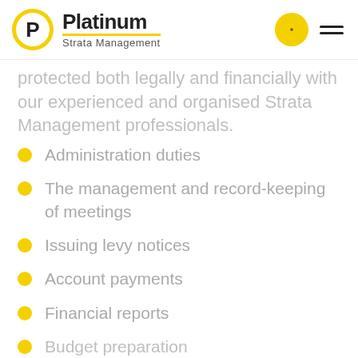Platinum Strata Management
protected both legally and financially with our experienced and organised Strata Management professionals.
Administration duties
The management and record-keeping of meetings
Issuing levy notices
Account payments
Financial reports
Budget preparation